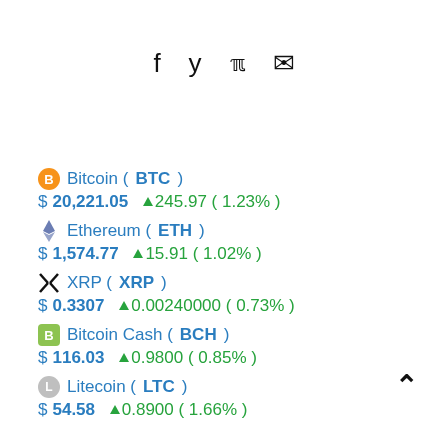Social icons: Facebook, Twitter, RSS, Email
Bitcoin (BTC)
$20,221.05 ▲ 245.97 ( 1.23% )
Ethereum (ETH)
$1,574.77 ▲ 15.91 ( 1.02% )
XRP (XRP)
$0.3307 ▲ 0.00240000 ( 0.73% )
Bitcoin Cash (BCH)
$116.03 ▲ 0.9800 ( 0.85% )
Litecoin (LTC)
$54.58 ▲ 0.8900 ( 1.66% )